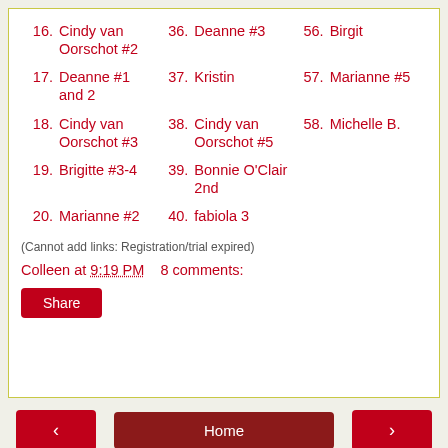16. Cindy van Oorschot #2
36. Deanne #3
56. Birgit
17. Deanne #1 and 2
37. Kristin
57. Marianne #5
18. Cindy van Oorschot #3
38. Cindy van Oorschot #5
58. Michelle B.
19. Brigitte #3-4
39. Bonnie O'Clair 2nd
20. Marianne #2
40. fabiola 3
(Cannot add links: Registration/trial expired)
Colleen at 9:19 PM    8 comments:
Share
< Home > View web version